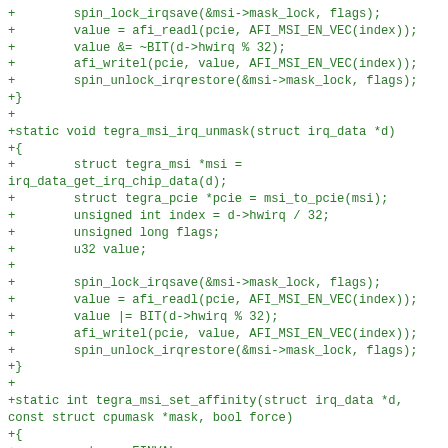[Figure (screenshot): Code diff snippet showing C source code additions for tegra_msi_irq_unmask and tegra_msi_set_affinity functions, and the beginning of tegra_msi_teardown_irq, displayed in green monospace font on white background.]